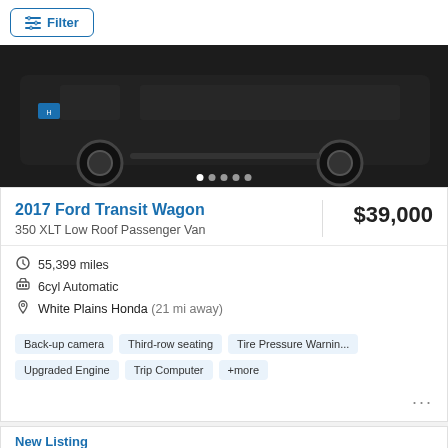[Figure (screenshot): Filter button UI element at top of automotive listings page]
[Figure (photo): Dark-colored Ford Transit Wagon vehicle photo with carousel navigation dots]
2017 Ford Transit Wagon
$39,000
350 XLT Low Roof Passenger Van
55,399 miles
6cyl Automatic
White Plains Honda (21 mi away)
Back-up camera
Third-row seating
Tire Pressure Warnin...
Upgraded Engine
Trip Computer
+more
New Listing